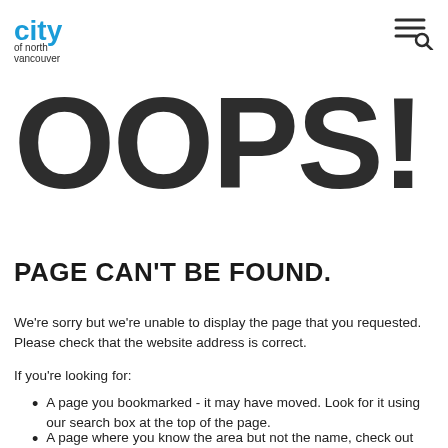City of North Vancouver — navigation header with logo and menu icon
OOPS!
PAGE CAN'T BE FOUND.
We're sorry but we're unable to display the page that you requested. Please check that the website address is correct.
If you're looking for:
A page you bookmarked - it may have moved. Look for it using our search box at the top of the page.
A page where you know the area but not the name, check out